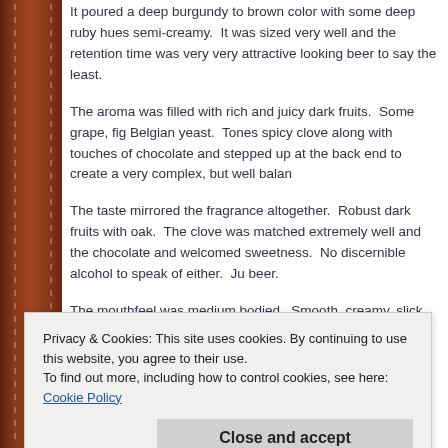It poured a deep burgundy to brown color with some deep ruby hues. semi-creamy. It was sized very well and the retention time was very very attractive looking beer to say the least.
The aroma was filled with rich and juicy dark fruits. Some grape, fig, Belgian yeast. Tones spicy clove along with touches of chocolate and stepped up at the back end to create a very complex, but well balanced...
The taste mirrored the fragrance altogether. Robust dark fruits with oak. The clove was matched extremely well and the chocolate and welcomed sweetness. No discernible alcohol to speak of either. Just... beer.
The mouthfeel was medium bodied. Smooth, creamy, slick, chewy and was excellent for a beer that had about 4 years of age on it. A suburban palate after each sip too.
Privacy & Cookies: This site uses cookies. By continuing to use this website, you agree to their use. To find out more, including how to control cookies, see here: Cookie Policy
Close and accept
hear your interpretation.